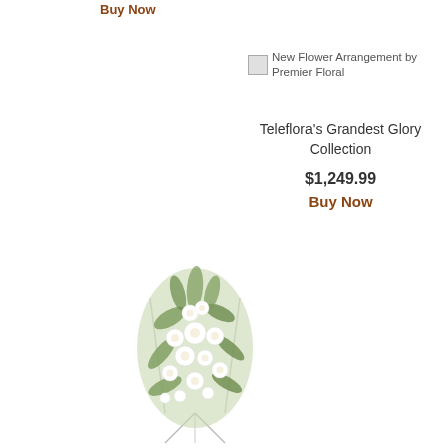Buy Now
[Figure (photo): Broken image placeholder with alt text: New Flower Arrangement by Premier Floral]
Teleflora's Grandest Glory Collection
$1,249.99
Buy Now
[Figure (photo): White flower arrangement on an easel stand, featuring white orchids, roses, and greenery — a standing funeral/sympathy spray]